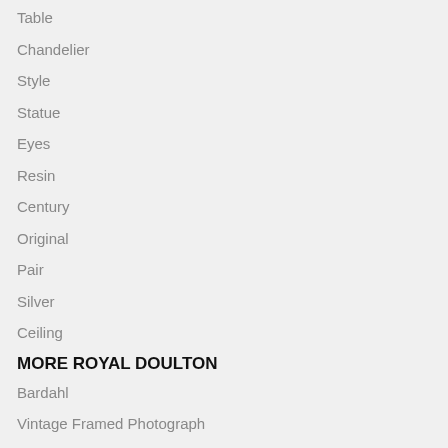Table
Chandelier
Style
Statue
Eyes
Resin
Century
Original
Pair
Silver
Ceiling
MORE ROYAL DOULTON
Bardahl
Vintage Framed Photograph